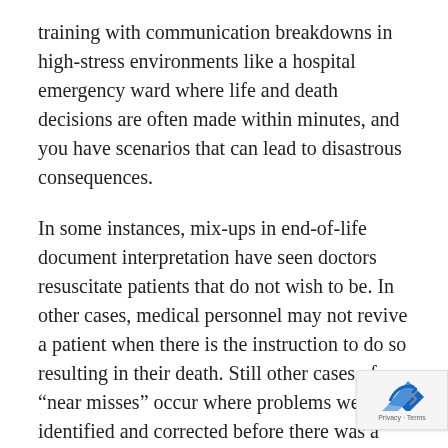training with communication breakdowns in high-stress environments like a hospital emergency ward where life and death decisions are often made within minutes, and you have scenarios that can lead to disastrous consequences.
In some instances, mix-ups in end-of-life document interpretation have seen doctors resuscitate patients that do not wish to be. In other cases, medical personnel may not revive a patient when there is the instruction to do so resulting in their death. Still other cases of “near misses” occur where problems were identified and corrected before there was a chance to cause permanent harm.
There are some frightening worst-case scenarios, yet you are still better off with legal end-of-life documents than without them. It is imperative to